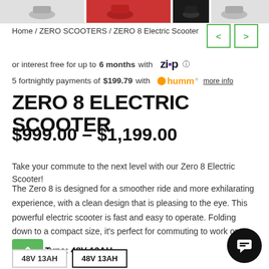[Figure (photo): Top strip of electric scooter product thumbnail images]
Home / ZERO SCOOTERS / ZERO 8 Electric Scooter
or interest free for up to 6 months with Zip
5 fortnightly payments of $199.79 with humm more info
ZERO 8 ELECTRIC SCOOTER
$999.00 – $1,199.00
Take your commute to the next level with our Zero 8 Electric Scooter!
The Zero 8 is designed for a smoother ride and more exhilarating experience, with a clean design that is pleasing to the eye. This powerful electric scooter is fast and easy to operate. Folding down to a compact size, it's perfect for commuting to work or school.
Type: 48V 13AH